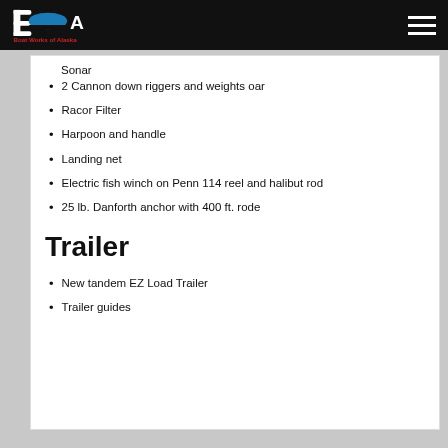Boat Works of Alaska
Sonar
2 Cannon down riggers and weights oar
Racor Filter
Harpoon and handle
Landing net
Electric fish winch on Penn 114 reel and halibut rod
25 lb. Danforth anchor with 400 ft. rode
Trailer
New tandem EZ Load Trailer
Trailer guides